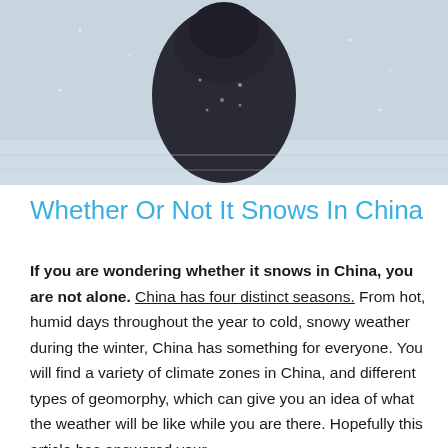[Figure (photo): A person wearing a dark snow-covered jacket or coat in a winter/snowy setting. The background is light gray, suggesting snow or overcast conditions.]
Whether Or Not It Snows In China
If you are wondering whether it snows in China, you are not alone. China has four distinct seasons. From hot, humid days throughout the year to cold, snowy weather during the winter, China has something for everyone. You will find a variety of climate zones in China, and different types of geomorphy, which can give you an idea of what the weather will be like while you are there. Hopefully this article has answered your